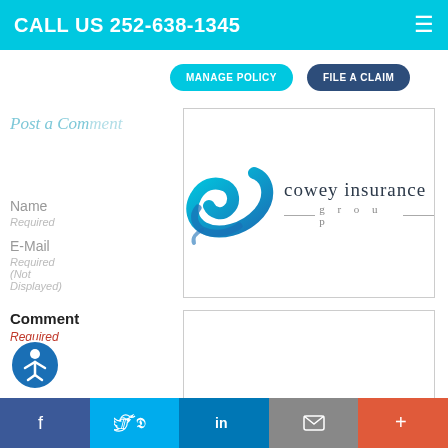CALL US 252-638-1345
Post a Comment
MANAGE POLICY
FILE A CLAIM
Name
Required
E-Mail
Required (Not Displayed)
[Figure (logo): Cowey Insurance Group logo with blue wave graphic and text]
Comment
Required
All comments are moderated and stripped of HTML.
[Figure (screenshot): reCAPTCHA widget with I'm not a robot checkbox]
[Figure (other): Accessibility icon]
Facebook Twitter LinkedIn Email More